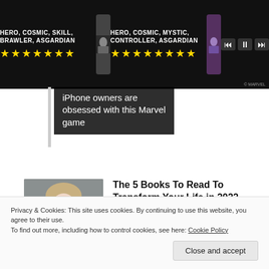[Figure (screenshot): Mobile game advertisement banner for a Marvel game showing two hero characters with star ratings, labels: HERO, COSMIC, SKILL, BRAWLER, ASGARDIAN and HERO, COSMIC, MYSTIC, CONTROLLER, ASGARDIAN, with media controls]
iPhone owners are obsessed with this Marvel game
[Figure (photo): Portrait photo of a blonde woman looking to the side, wearing a white outfit, with red lipstick]
The 5 Books To Read To Transform Your Life in 2022
Blinkist
[Figure (photo): Close-up photo of a dark-haired woman's face]
[Photos] She Was His Foster Mom
Privacy & Cookies: This site uses cookies. By continuing to use this website, you agree to their use.
To find out more, including how to control cookies, see here: Cookie Policy
Close and accept